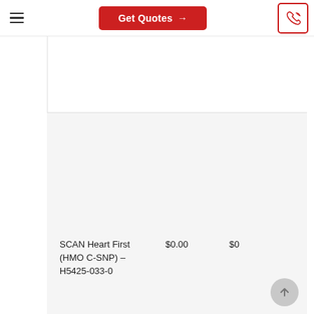Get Quotes →
SCAN Heart First (HMO C-SNP) – H5425-033-0  $0.00  $0